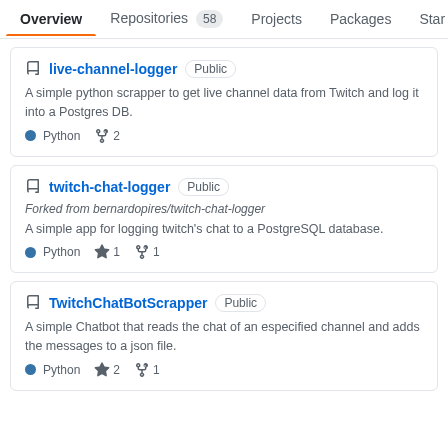Overview  Repositories 58  Projects  Packages  Star
live-channel-logger Public
A simple python scrapper to get live channel data from Twitch and log it into a Postgres DB.
Python  fork 2
twitch-chat-logger Public
Forked from bernardopires/twitch-chat-logger
A simple app for logging twitch's chat to a PostgreSQL database.
Python  star 1  fork 1
TwitchChatBotScrapper Public
A simple Chatbot that reads the chat of an especified channel and adds the messages to a json file.
Python  star 2  fork 1